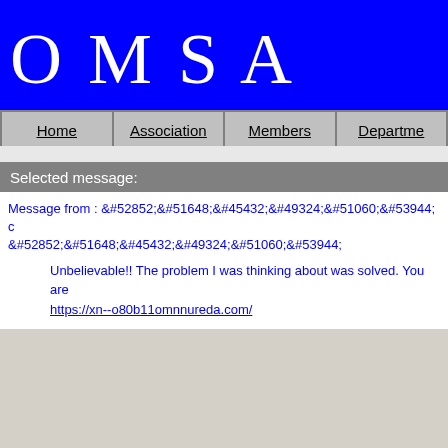OMSA
Home | Association | Members | Departme...
Selected message:
Message from : &#52852;&#51648;&#45432;&#49324;&#51060;&#53944; &#52852;&#51648;&#45432;&#49324;&#51060;&#53944;
Unbelievable!! The problem I was thinking about was solved. You are https://xn--o80b11omnnureda.com/
Your reply :
Name: | EMail: | Subject: | Text: Re:
Re: